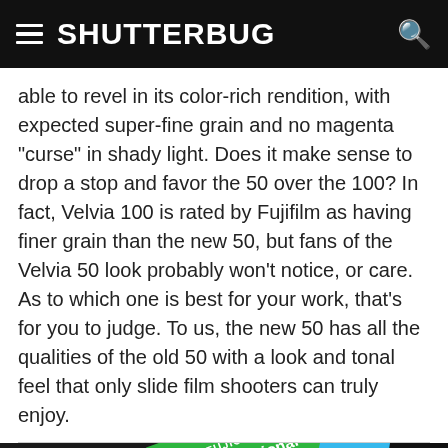SHUTTERBUG
able to revel in its color-rich rendition, with expected super-fine grain and no magenta "curse" in shady light. Does it make sense to drop a stop and favor the 50 over the 100? In fact, Velvia 100 is rated by Fujifilm as having finer grain than the new 50, but fans of the Velvia 50 look probably won't notice, or care. As to which one is best for your work, that's for you to judge. To us, the new 50 has all the qualities of the old 50 with a look and tonal feel that only slide film shooters can truly enjoy.
[Figure (photo): Fujifilm Fujichrome Professional film box packaging, showing green label with 'FUJICHROME Professional' text, partially visible red Fujifilm branding, black and blue packaging elements, photographed at an angle.]